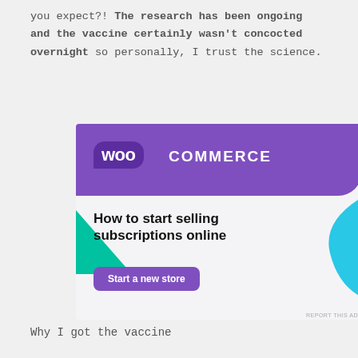you expect?! The research has been ongoing and the vaccine certainly wasn't concocted overnight so personally, I trust the science.
[Figure (illustration): WooCommerce advertisement banner. Purple top section with WooCommerce logo (WOO in rounded box, COMMERCE in block letters). Green triangle shape lower left, blue curved shape lower right. White body with text 'How to start selling subscriptions online' and a purple 'Start a new store' button. 'REPORT THIS AD' in small gray text bottom right.]
Why I got the vaccine